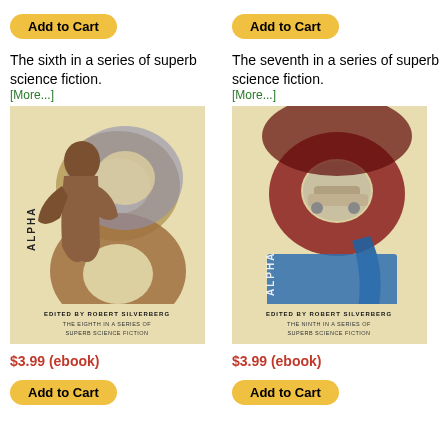[Figure (other): Add to Cart button - yellow rounded rectangle, left column top]
The sixth in a series of superb science fiction. [More...]
[Figure (photo): Book cover: Alpha 8, edited by Robert Silverberg, The Eighth in a Series of Superb Science Fiction. Shows a large '8' figure with a muscular figure and circular disc shapes.]
$3.99 (ebook)
[Figure (other): Add to Cart button - yellow rounded rectangle, left column bottom]
[Figure (other): Add to Cart button - yellow rounded rectangle, right column top]
The seventh in a series of superb science fiction. [More...]
[Figure (photo): Book cover: Alpha 9, edited by Robert Silverberg, The Ninth in a Series of Superb Science Fiction. Shows a large '9' figure with a space/sci-fi scene.]
$3.99 (ebook)
[Figure (other): Add to Cart button - yellow rounded rectangle, right column bottom]